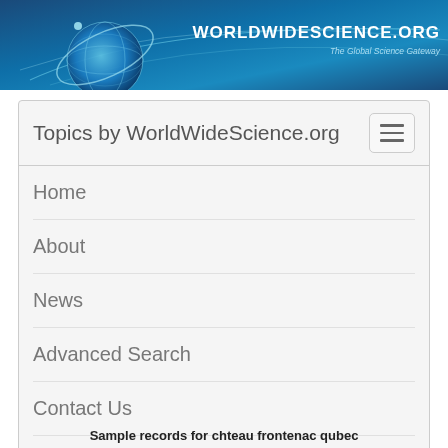[Figure (logo): WorldWideScience.org header banner with globe graphic on left and site name and tagline on right against dark blue background]
Topics by WorldWideScience.org
Home
About
News
Advanced Search
Contact Us
Site Map
Help
Sample records for chteau frontenac qubec